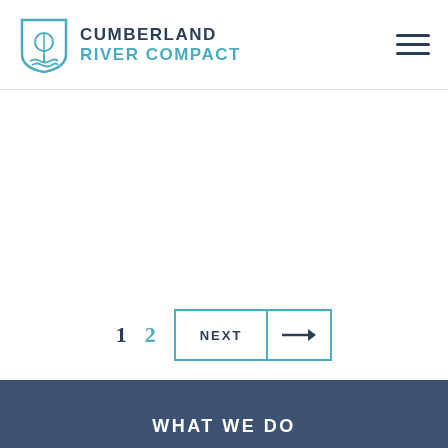Cumberland River Compact
1
2
NEXT →
WHAT WE DO
WHO WE ARE
GET INVOLVED